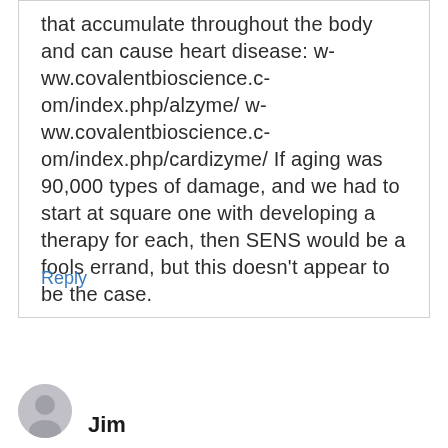that accumulate throughout the body and can cause heart disease: w-ww.covalentbioscience.c-om/index.php/alzyme/ w-ww.covalentbioscience.c-om/index.php/cardizyme/ If aging was 90,000 types of damage, and we had to start at square one with developing a therapy for each, then SENS would be a fools errand, but this doesn't appear to be the case.
Reply
Jim